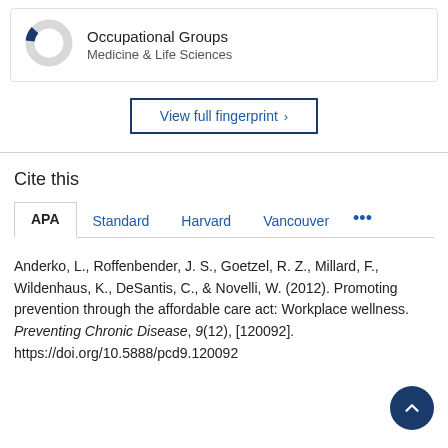[Figure (donut-chart): Small donut chart showing a small dark blue slice on a light grey ring, representing Occupational Groups in Medicine & Life Sciences]
Occupational Groups
Medicine & Life Sciences
View full fingerprint ›
Cite this
APA  Standard  Harvard  Vancouver  •••
Anderko, L., Roffenbender, J. S., Goetzel, R. Z., Millard, F., Wildenhaus, K., DeSantis, C., & Novelli, W. (2012). Promoting prevention through the affordable care act: Workplace wellness. Preventing Chronic Disease, 9(12), [120092]. https://doi.org/10.5888/pcd9.120092